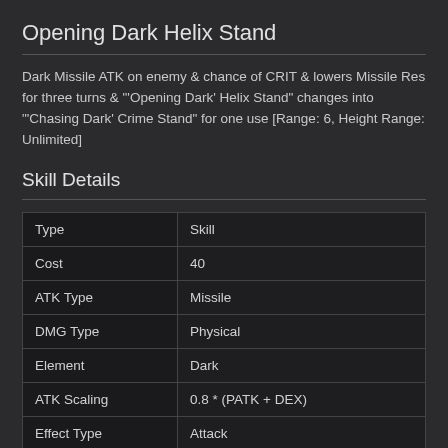Opening Dark Helix Stand
Dark Missile ATK on enemy & chance of CRIT & lowers Missile Res for three turns & "'Opening Dark' Helix Stand" changes into "'Chasing Dark' Crime Stand" for one use [Range: 6, Height Range: Unlimited]
Skill Details
|  |  |
| --- | --- |
| Type | Skill |
| Cost | 40 |
| ATK Type | Missile |
| DMG Type | Physical |
| Element | Dark |
| ATK Scaling | 0.8 * (PATK + DEX) |
| Effect Type | Attack |